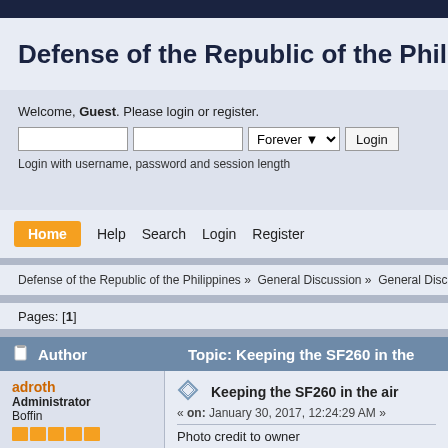Defense of the Republic of the Philippines
Welcome, Guest. Please login or register.
Login with username, password and session length
Home   Help   Search   Login   Register
Defense of the Republic of the Philippines » General Discussion » General Discussion »
Pages: [1]
Author   Topic: Keeping the SF260 in the
adroth
Administrator
Boffin
Keeping the SF260 in the air
« on: January 30, 2017, 12:24:29 AM »
Photo credit to owner